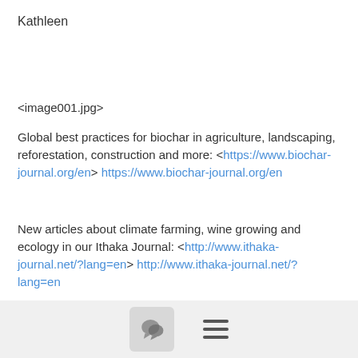Kathleen
<image001.jpg>
Global best practices for biochar in agriculture, landscaping, reforestation, construction and more:  <https://www.biochar-journal.org/en> https://www.biochar-journal.org/en
New articles about climate farming, wine growing and ecology in our Ithaka Journal:  <http://www.ithaka-journal.net/?lang=en> http://www.ithaka-journal.net/?lang=en
Biochar blogging at:  <http://fingerlakesbiochar.com/blog/>